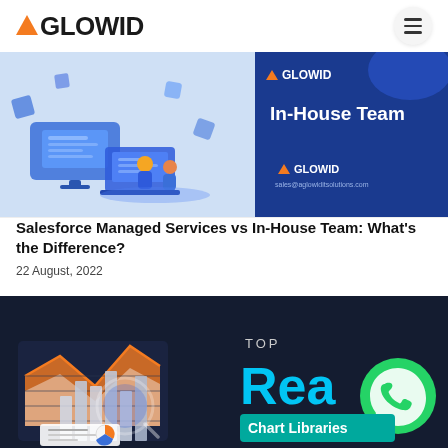AGLOWID
[Figure (illustration): Salesforce Managed Services vs In-House Team blog post banner with isometric illustration of tech workspace on left and 'In-House Team' text with AGLOWID logo on blue background on right]
Salesforce Managed Services vs In-House Team: What's the Difference?
22 August, 2022
[Figure (illustration): TOP React Chart Libraries blog post banner with isometric illustration of data charts and analytics dashboard on dark navy background, with WhatsApp icon overlay]